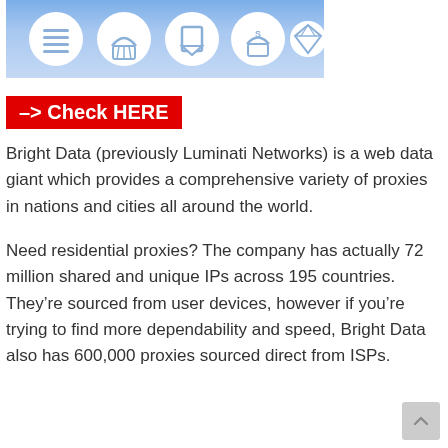[Figure (illustration): Header banner with blue gradient background containing five white circular icons: a menu/list icon, a shopping basket icon, a bookmark/tag icon, a small shopping basket icon with letter S, and a diamond/gem icon.]
–> Check HERE
Bright Data (previously Luminati Networks) is a web data giant which provides a comprehensive variety of proxies in nations and cities all around the world.
Need residential proxies? The company has actually 72 million shared and unique IPs across 195 countries. They're sourced from user devices, however if you're trying to find more dependability and speed, Bright Data also has 600,000 proxies sourced direct from ISPs.